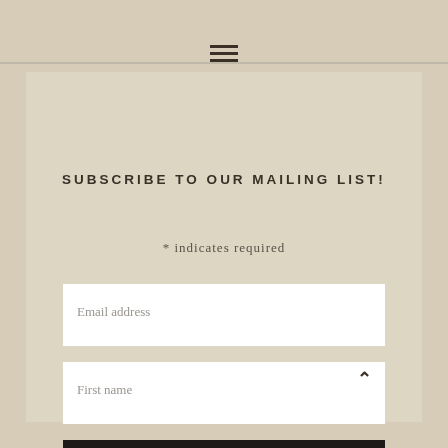[Figure (other): Hamburger/menu icon with three horizontal lines]
SUBSCRIBE TO OUR MAILING LIST!
* indicates required
Email address
First name
SUBSCRIBE